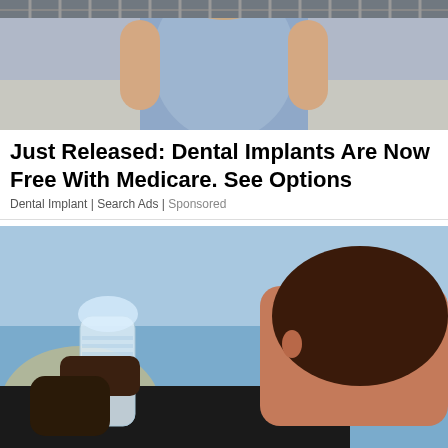[Figure (photo): Woman in light blue fitted dress walking on a street/boardwalk, viewed from neck down]
Just Released: Dental Implants Are Now Free With Medicare. See Options
Dental Implant | Search Ads | Sponsored
[Figure (photo): Woman drinking from a clear plastic water bottle against a bright sky background]
Bottled Water Brands People In Ashburn